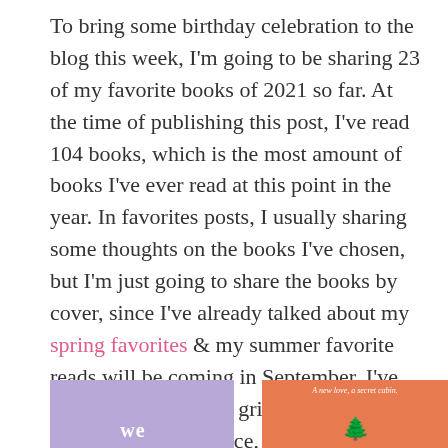To bring some birthday celebration to the blog this week, I'm going to be sharing 23 of my favorite books of 2021 so far. At the time of publishing this post, I've read 104 books, which is the most amount of books I've ever read at this point in the year. In favorites posts, I usually sharing some thoughts on the books I've chosen, but I'm just going to share the books by cover, since I've already talked about my spring favorites & my summer favorite reads will be coming in September. I've semi-categorized the grid by YA, contemporary romance, and contemporary reads.. and the 2 mysteries, 1 nonfiction, & 1 fantasy I have here.
[Figure (photo): Two book covers partially visible at the bottom of the page. Left cover is purple/lavender with white text starting with 'we'. Right cover is coral/orange with a dark green tree illustration and small italic text reading 'A new love, a secret cabin.']